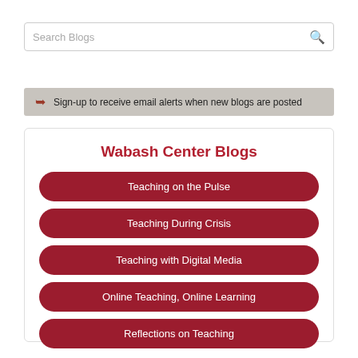Search Blogs
Sign-up to receive email alerts when new blogs are posted
Wabash Center Blogs
Teaching on the Pulse
Teaching During Crisis
Teaching with Digital Media
Online Teaching, Online Learning
Reflections on Teaching